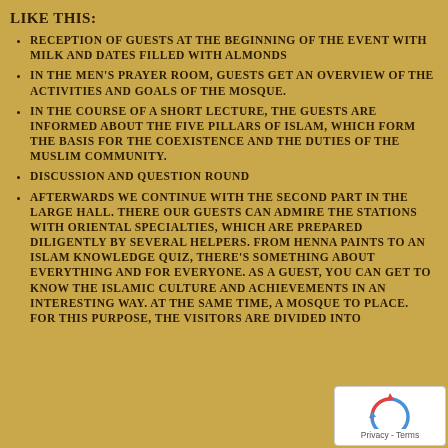LIKE THIS:
RECEPTION OF GUESTS AT THE BEGINNING OF THE EVENT WITH MILK AND DATES FILLED WITH ALMONDS
IN THE MEN'S PRAYER ROOM, GUESTS GET AN OVERVIEW OF THE ACTIVITIES AND GOALS OF THE MOSQUE.
IN THE COURSE OF A SHORT LECTURE, THE GUESTS ARE INFORMED ABOUT THE FIVE PILLARS OF ISLAM, WHICH FORM THE BASIS FOR THE COEXISTENCE AND THE DUTIES OF THE MUSLIM COMMUNITY.
DISCUSSION AND QUESTION ROUND
AFTERWARDS WE CONTINUE WITH THE SECOND PART IN THE LARGE HALL. THERE OUR GUESTS CAN ADMIRE THE STATIONS WITH ORIENTAL SPECIALTIES, WHICH ARE PREPARED DILIGENTLY BY SEVERAL HELPERS. FROM HENNA PAINTS TO AN ISLAM KNOWLEDGE QUIZ, THERE'S SOMETHING ABOUT EVERYTHING AND FOR EVERYONE. AS A GUEST, YOU CAN GET TO KNOW THE ISLAMIC CULTURE AND ACHIEVEMENTS IN AN INTERESTING WAY. AT THE SAME TIME, A MOSQUE TOUR TAKES PLACE. FOR THIS PURPOSE, THE VISITORS ARE DIVIDED INTO